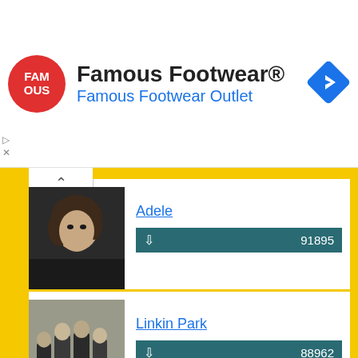[Figure (screenshot): Famous Footwear advertisement banner with red circular logo, text 'Famous Footwear®' and 'Famous Footwear Outlet' in blue, and a blue diamond navigation icon]
[Figure (photo): Photo of Adele, a female singer with wavy brown hair]
Adele
↓ 91895
[Figure (photo): Photo of Linkin Park band members standing outdoors]
Linkin Park
↓ 88962
[Figure (photo): Photo of Alan Walker in hooded outfit with AW logo against green geometric background]
Alan Walker
↓ 76572